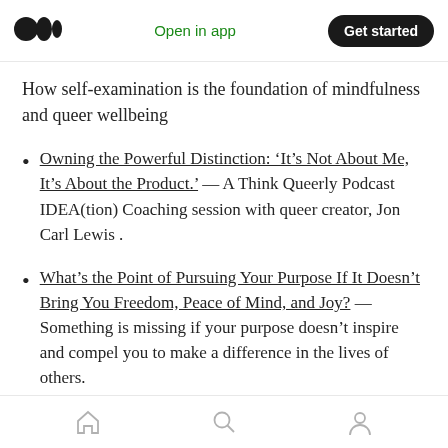Open in app  Get started
How self-examination is the foundation of mindfulness and queer wellbeing
Owning the Powerful Distinction: ‘It’s Not About Me, It’s About the Product.’ — A Think Queerly Podcast IDEA(tion) Coaching session with queer creator, Jon Carl Lewis .
What’s the Point of Pursuing Your Purpose If It Doesn’t Bring You Freedom, Peace of Mind, and Joy? — Something is missing if your purpose doesn’t inspire and compel you to make a difference in the lives of others.
Home  Search  Profile